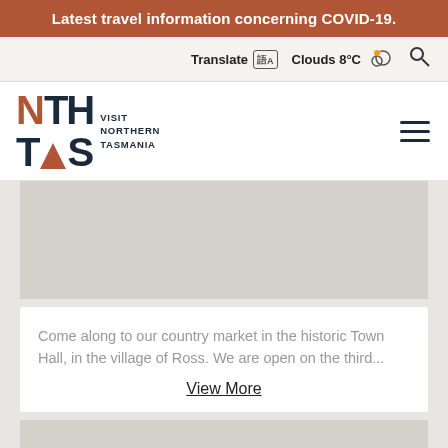Latest travel information concerning COVID-19.
Translate  Clouds 8°C
[Figure (logo): NTH TAS Visit Northern Tasmania logo with orange N and triangle in TAS]
Come along to our country market in the historic Town Hall, in the village of Ross. We are open on the third...
View More